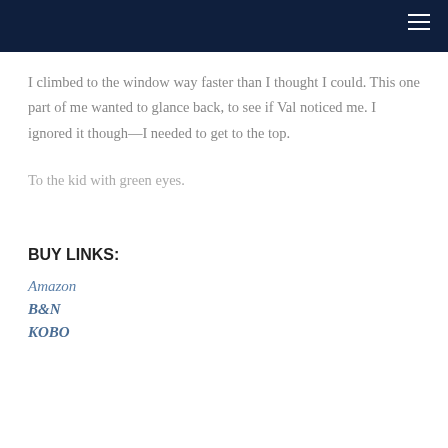I climbed to the window way faster than I thought I could. This one part of me wanted to glance back, to see if Val noticed me. I ignored it though—I needed to get to the top.
To the kid with green eyes.
BUY LINKS:
Amazon
B&N
KOBO